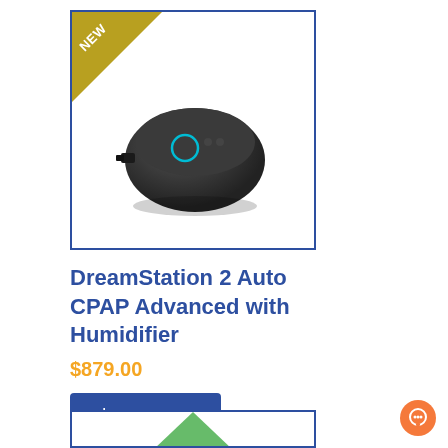[Figure (photo): DreamStation 2 Auto CPAP Advanced with Humidifier device photo inside a blue-bordered box with a gold 'NEW' triangle badge in the top-left corner]
DreamStation 2 Auto CPAP Advanced with Humidifier
$879.00
Learn more
[Figure (photo): Partial view of a second product card with a green shape visible at the bottom]